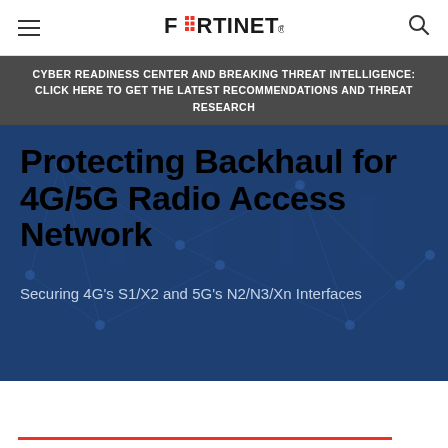FORTINET
CYBER READINESS CENTER AND BREAKING THREAT INTELLIGENCE: CLICK HERE TO GET THE LATEST RECOMMENDATIONS AND THREAT RESEARCH
Protecting Backhaul for 4G/5G Radio Access Network
Securing 4G's S1/X2 and 5G's N2/N3/Xn Interfaces
Radio Access Network (RAN) — Backhaul Basics